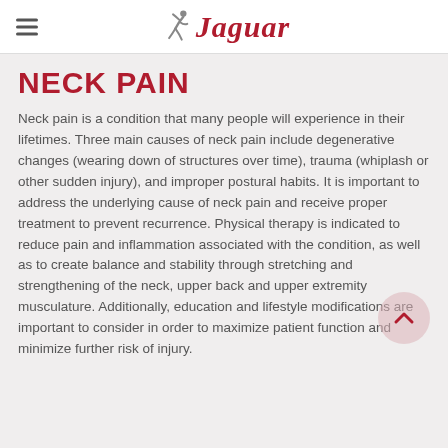Jaguar (logo header with hamburger menu)
NECK PAIN
Neck pain is a condition that many people will experience in their lifetimes. Three main causes of neck pain include degenerative changes (wearing down of structures over time), trauma (whiplash or other sudden injury), and improper postural habits. It is important to address the underlying cause of neck pain and receive proper treatment to prevent recurrence. Physical therapy is indicated to reduce pain and inflammation associated with the condition, as well as to create balance and stability through stretching and strengthening of the neck, upper back and upper extremity musculature. Additionally, education and lifestyle modifications are important to consider in order to maximize patient function and minimize further risk of injury.